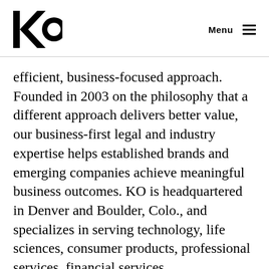KO  Menu
efficient, business-focused approach. Founded in 2003 on the philosophy that a different approach delivers better value, our business-first legal and industry expertise helps established brands and emerging companies achieve meaningful business outcomes. KO is headquartered in Denver and Boulder, Colo., and specializes in serving technology, life sciences, consumer products, professional services, financial services, manufacturing, energy and